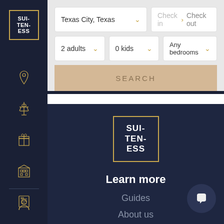[Figure (logo): Suiteness logo in gold border box on dark sidebar, text: SUI-TEN-ESS]
[Figure (illustration): Sidebar navigation icons: location pin, airport tower, gift, building/hotel, document, user profile]
Texas City, Texas
Check in > Check out
2 adults
0 kids
Any bedrooms
SEARCH
[Figure (logo): Suiteness center logo with gold border, text: SUI-TEN-ESS]
Learn more
Guides
About us
Reviews